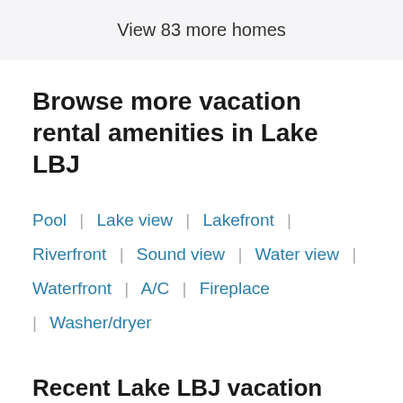View 83 more homes
Browse more vacation rental amenities in Lake LBJ
Pool | Lake view | Lakefront | Riverfront | Sound view | Water view | Waterfront | A/C | Fireplace | Washer/dryer
Recent Lake LBJ vacation rental reviews